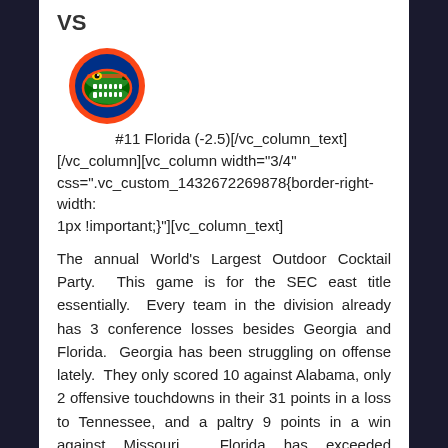VS
[Figure (logo): Florida Gators head logo - orange and blue gator head]
#11 Florida (-2.5)[/vc_column_text]
[/vc_column][vc_column width="3/4"
css=".vc_custom_1432672269878{border-right-width:
1px !important;}"][vc_column_text]
The annual World's Largest Outdoor Cocktail Party.  This game is for the SEC east title essentially.  Every team in the division already has 3 conference losses besides Georgia and Florida.  Georgia has been struggling on offense lately.  They only scored 10 against Alabama, only 2 offensive touchdowns in their 31 points in a loss to Tennessee, and a paltry 9 points in a win against Missouri.  Florida has exceeded everyone's expectations this year.  Florida fans were hoping for just bowl eligibility